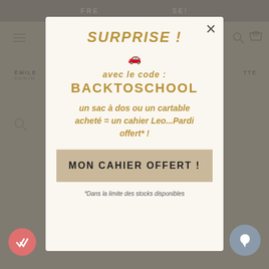[Figure (screenshot): Background of a retail website page with navigation bar, hamburger menu, search icon, cart icon, and category labels partially visible behind a modal overlay]
SURPRISE !
avec le code :
BACKTOSCHOOL
un sac à dos ou un cartable acheté = un cahier Leo...Pardi offert* !
MON CAHIER OFFERT !
*Dans la limite des stocks disponibles